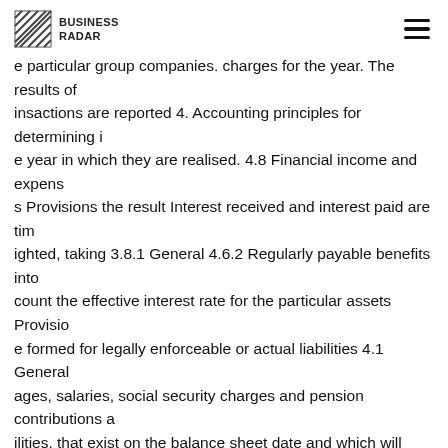BUSINESS RADAR
particular group companies. charges for the year. The results of transactions are reported 4. Accounting principles for determining in the year in which they are realised. 4.8 Financial income and expenses Provisions the result Interest received and interest paid are time-weighted, taking 3.8.1 General 4.6.2 Regularly payable benefits into account the effective interest rate for the particular assets Provisions are formed for legally enforceable or actual liabilities 4.1 General ages, salaries, social security charges and pension contributions and liabilities. that exist on the balance sheet date and which will most likely The result is determined as the difference between the realisable are, on grounds of the employment conditions, included in require the outflow of funds the size of which can be reliably value of performance delivered and the costs and other the profit and loss account to the extent they are payable to 4.9 Tax on result from ordinary business operations estimated. charges for the year. The results on transactions are reported in employees. The tax on the result is calculated on the result before tax in the the year in which